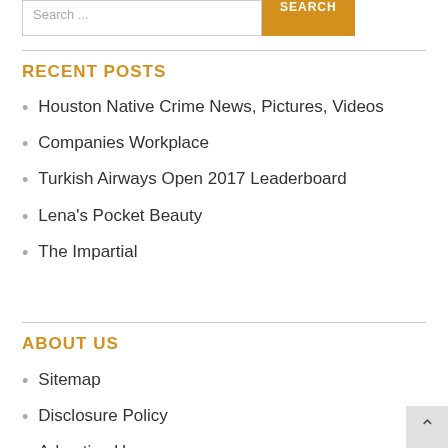Search ...
RECENT POSTS
Houston Native Crime News, Pictures, Videos
Companies Workplace
Turkish Airways Open 2017 Leaderboard
Lena's Pocket Beauty
The Impartial
ABOUT US
Sitemap
Disclosure Policy
Advertise Here